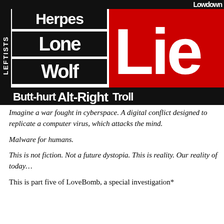[Figure (illustration): Collage of black-and-white and red newspaper/headline-style text blocks. Words visible: 'Leftists' (vertical), 'Herpes', 'Lone', 'Wolf', 'Lies' (large red block), 'Butt-hurt', 'Alt-Right', 'Troll'. Aggressive typographic collage aesthetic.]
Imagine a war fought in cyberspace. A digital conflict designed to replicate a computer virus, which attacks the mind.
Malware for humans.
This is not fiction. Not a future dystopia. This is reality. Our reality of today…
This is part five of LoveBomb, a special investigation*